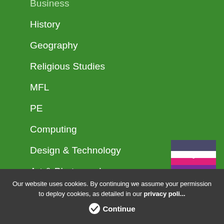Business
History
Geography
Religious Studies
MFL
PE
Computing
Design & Technology
Art & Photography
Music
Our website uses cookies. By continuing we assume your permission to deploy cookies, as detailed in our privacy policy
Continue
[Figure (logo): Shield-shaped logo with purple/grey and pink/magenta horizontal stripes and a T letter mark]